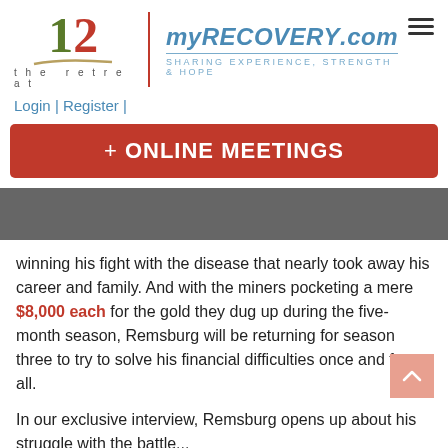[Figure (logo): The Retreat logo with '12' numeral in red and green, swoosh underline, text 'the retreat', vertical red divider, myRECOVERY.com in blue italic with tagline 'SHARING EXPERIENCE, STRENGTH & HOPE', hamburger menu icon]
Login | Register |
+ ONLINE MEETINGS
winning his fight with the disease that nearly took away his career and family. And with the miners pocketing a mere $8,000 each for the gold they dug up during the five-month season, Remsburg will be returning for season three to try to solve his financial difficulties once and for all.
In our exclusive interview, Remsburg opens up about his struggle with the battle...